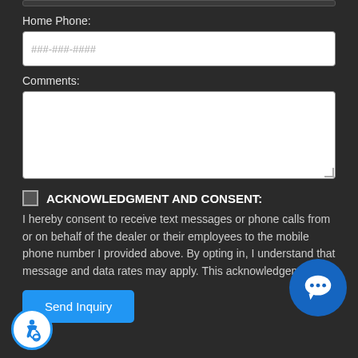Home Phone:
###-###-####
Comments:
ACKNOWLEDGMENT AND CONSENT: I hereby consent to receive text messages or phone calls from or on behalf of the dealer or their employees to the mobile phone number I provided above. By opting in, I understand that message and data rates may apply. This acknowledgement...
Send Inquiry